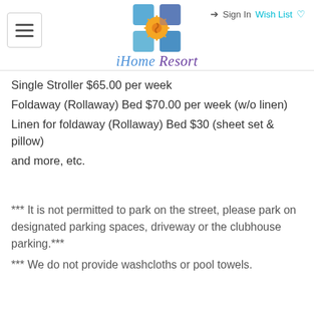iHome Resort
Single Stroller $65.00 per week
Foldaway (Rollaway) Bed $70.00 per week (w/o linen)
Linen for foldaway (Rollaway) Bed $30 (sheet set & pillow)
and more, etc.
*** It is not permitted to park on the street, please park on designated parking spaces, driveway or the clubhouse parking.***
*** We do not provide washcloths or pool towels.